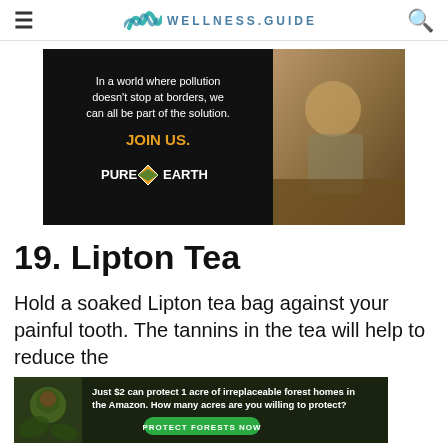WELLNESS.GUIDE
[Figure (photo): Pure Earth advertisement banner: dark background with text 'In a world where pollution doesn't stop at borders, we can all be part of the solution. JOIN US. PURE EARTH' and a photo of a person planting or working in soil on the right side.]
19. Lipton Tea
Hold a soaked Lipton tea bag against your painful tooth. The tannins in the tea will help to reduce the
[Figure (photo): Rainforest Trust advertisement: 'Just $2 can protect 1 acre of irreplaceable forest homes in the Amazon. How many acres are you willing to protect?' with a green 'PROTECT FORESTS NOW' button and a photo of a primate in green foliage.]